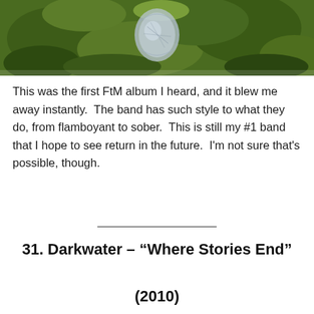[Figure (photo): Partial view of a mossy green surface with what appears to be a metallic or reflective object in the upper center area, cropped at top of page.]
This was the first FtM album I heard, and it blew me away instantly.  The band has such style to what they do, from flamboyant to sober.  This is still my #1 band that I hope to see return in the future.  I'm not sure that's possible, though.
31. Darkwater – “Where Stories End”
(2010)